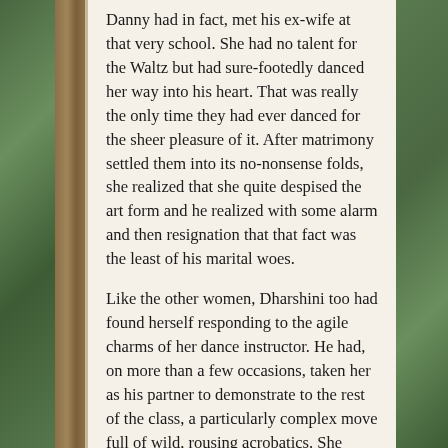Danny had in fact, met his ex-wife at that very school. She had no talent for the Waltz but had sure-footedly danced her way into his heart. That was really the only time they had ever danced for the sheer pleasure of it. After matrimony settled them into its no-nonsense folds, she realized that she quite despised the art form and he realized with some alarm and then resignation that that fact was the least of his marital woes.
Like the other women, Dharshini too had found herself responding to the agile charms of her dance instructor. He had, on more than a few occasions, taken her as his partner to demonstrate to the rest of the class, a particularly complex move full of wild, rousing acrobatics. She came away from these twists and spins breathless and reddened with exertion and excitement. She was sure he too